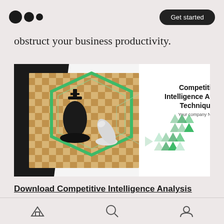Medium logo | Get started
obstruct your business productivity.
[Figure (screenshot): Screenshot of a presentation slide titled 'Competitive Intelligence Analysis Techniques' with 'Your company Name' subtitle. Left side shows a chessboard photo with black and white chess pieces inside a green hexagon shape on a dark background. Right side has decorative green triangle patterns.]
Download Competitive Intelligence Analysis